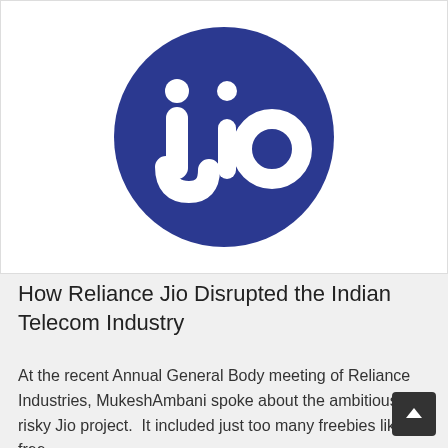[Figure (logo): Jio logo — white 'Jio' text on a dark blue circle]
How Reliance Jio Disrupted the Indian Telecom Industry
At the recent Annual General Body meeting of Reliance Industries, MukeshAmbani spoke about the ambitious and risky Jio project.  It included just too many freebies like free